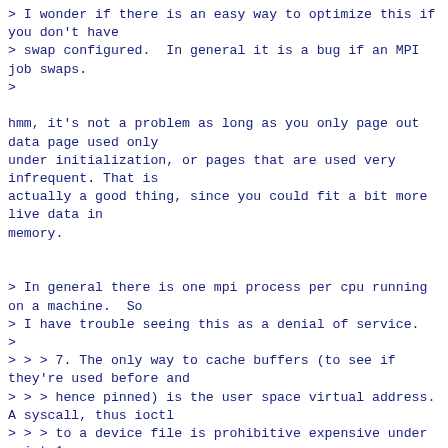> I wonder if there is an easy way to optimize this if you don't have
> swap configured.  In general it is a bug if an MPI job swaps.
>

hmm, it's not a problem as long as you only page out data page used only
under initialization, or pages that are used very infrequent. That is
actually a good thing, since you could fit a bit more live data in
memory.


> In general there is one mpi process per cpu running on a machine.  So
> I have trouble seeing this as a denial of service.
>
> > > 7. The only way to cache buffers (to see if they're used before and
> > > hence pinned) is the user space virtual address. A syscall, thus ioctl
> > > to a device file is prohibitive expensive under point 1.
> >
> > That's a horribly b0rked approach..
> >
> > Again, where's your driver source so we can help you to find a better